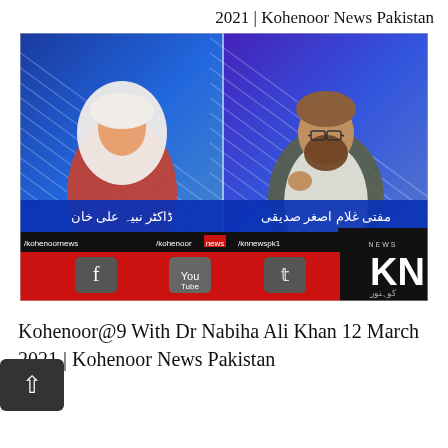2021 | Kohenoor News Pakistan
[Figure (screenshot): TV news screenshot from Kohenoor News Pakistan showing two guests in a split-screen format: a woman in a red outfit with white hijab on the left (Dr. Nabiha Ali Khan) and a man in traditional Islamic clothing on the right (Mufti Ghulam Asghar Siddiqui). Bottom bar shows Kohenoor News branding with social media handles /kohenoornews, /kohenoor news, /knnewspk1 and KN logo.]
Kohenoor@9 With Dr Nabiha Ali Khan 12 March 2021 | Kohenoor News Pakistan